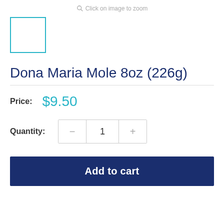Click on image to zoom
[Figure (other): Small product thumbnail placeholder box with teal/cyan border]
Dona Maria Mole 8oz (226g)
Price: $9.50
Quantity: 1
Add to cart